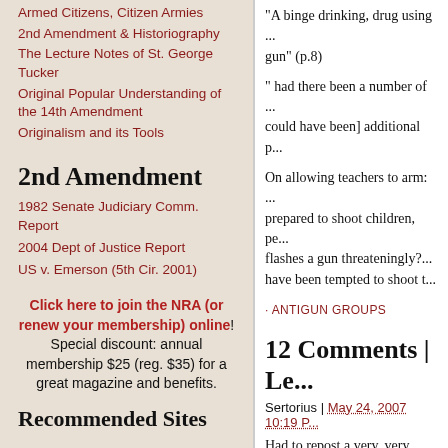Armed Citizens, Citizen Armies
2nd Amendment & Historiography
The Lecture Notes of St. George Tucker
Original Popular Understanding of the 14th Amendment
Originalism and its Tools
2nd Amendment
1982 Senate Judiciary Comm. Report
2004 Dept of Justice Report
US v. Emerson (5th Cir. 2001)
Click here to join the NRA (or renew your membership) online! Special discount: annual membership $25 (reg. $35) for a great magazine and benefits.
Recommended Sites
"A binge drinking, drug using ... gun" (p.8)
" had there been a number of ... could have been] additional p...
On allowing teachers to arm: ... prepared to shoot children, pe... flashes a gun threateningly?... have been tempted to shoot t...
· ANTIGUN GROUPS
12 Comments | Le...
Sertorius | May 24, 2007 10:19 P...
Had to repost a very, very fun... Brady's musing that colleges ... just reposting):
"Henhouses may face legal p...